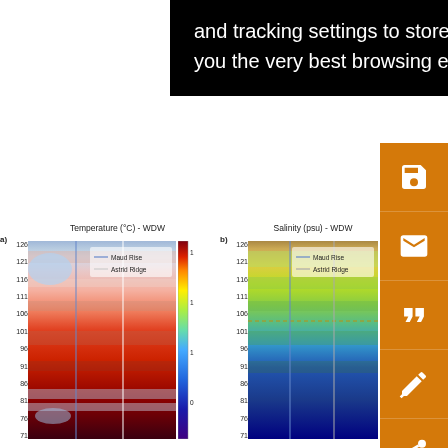and tracking settings to store information that help give you the very best browsing experience.
yr r ave
[Figure (other): Orange sidebar with icons: save (floppy disk), email (envelope), quote (quotation marks), annotation (pen), share (share icon)]
[Figure (continuous-plot): Heatmap of temperature data for WDW. Y-axis from 71 to 126. Color scale 0.75 to 1.50. Legend shows Maud Rise (blue line) and Astrid Ridge (white line). Plot shows warm (red/dark) tones with lighter/cooler streaks.]
[Figure (continuous-plot): Heatmap of salinity data for WDW. Y-axis from 71 to 126. Legend shows Maud Rise (blue line) and Astrid Ridge (gray line). Plot shows green/blue/yellow tones with dashed horizontal line near y=101.]
pink white indi cen of N